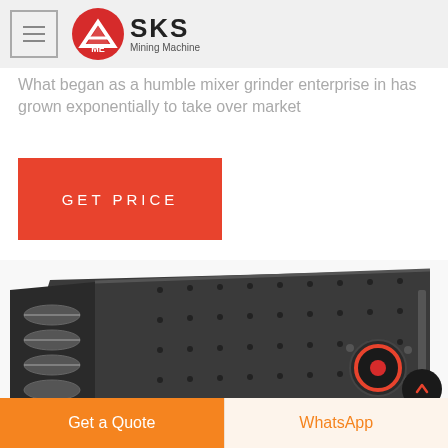[Figure (logo): SKS Mining Machine logo with hamburger menu icon on grey header bar]
What began as a humble mixer grinder enterprise in has grown exponentially to take over market
GET PRICE
[Figure (photo): Industrial vibrating screen machine, dark grey/black color, angled view showing roller bars and bolt-studded side panel with red circular motor mount]
Get a Quote
WhatsApp